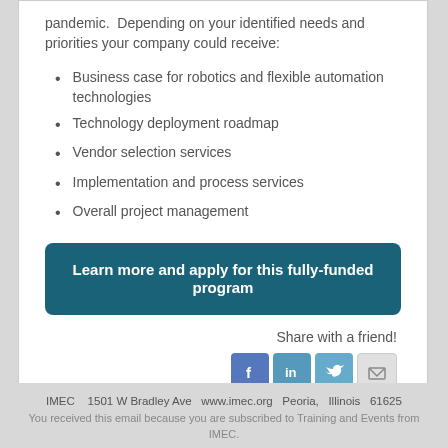pandemic.  Depending on your identified needs and priorities your company could receive:
Business case for robotics and flexible automation technologies
Technology deployment roadmap
Vendor selection services
Implementation and process services
Overall project management
Learn more and apply for this fully-funded program
Share with a friend!
[Figure (infographic): Social sharing icons: Facebook, LinkedIn, Twitter, Email]
IMEC   1501 W Bradley Ave  www.imec.org  Peoria,  Illinois  61625
You received this email because you are subscribed to Training and Events from IMEC.